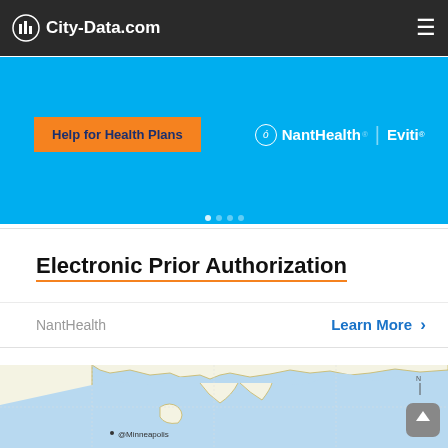City-Data.com
[Figure (screenshot): Advertisement banner for NantHealth Eviti – Help for Health Plans – blue background with orange button]
Electronic Prior Authorization
NantHealth   Learn More >
[Figure (map): Partial map showing upper Midwest / Great Lakes region with Minneapolis label]